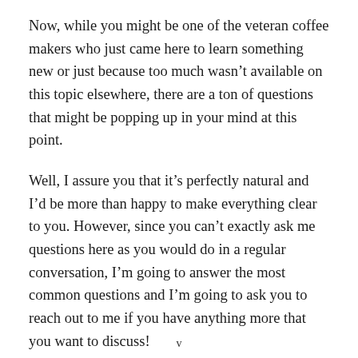Now, while you might be one of the veteran coffee makers who just came here to learn something new or just because too much wasn't available on this topic elsewhere, there are a ton of questions that might be popping up in your mind at this point.
Well, I assure you that it's perfectly natural and I'd be more than happy to make everything clear to you. However, since you can't exactly ask me questions here as you would do in a regular conversation, I'm going to answer the most common questions and I'm going to ask you to reach out to me if you have anything more that you want to discuss!
Wh   t  d    s  th s  t  k f r  …
v